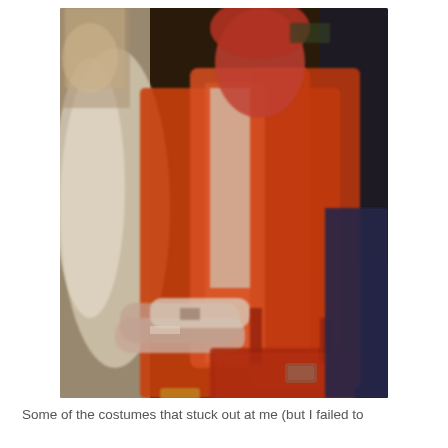[Figure (photo): A blurry photo of a person wearing an orange/red coat, red face paint or mask, and carrying a red handbag. There are other people visible in the background. The image appears to be taken at some kind of costume or Halloween event.]
Some of the costumes that stuck out at me (but I failed to